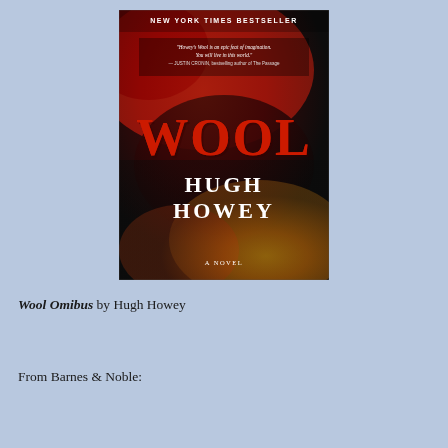[Figure (photo): Book cover of 'Wool' by Hugh Howey. Dark background with red and gold textured surface. Text at top: 'NEW YORK TIMES BESTSELLER'. Quote: "Howey's Wool is an epic feat of imagination. You will live in this world." — JUSTIN CRONIN, bestselling author of The Passage. Title 'WOOL' in large red letters. Author name 'HUGH HOWEY' in white letters. 'A NOVEL' at bottom.]
Wool Omibus by Hugh Howey
From Barnes & Noble: